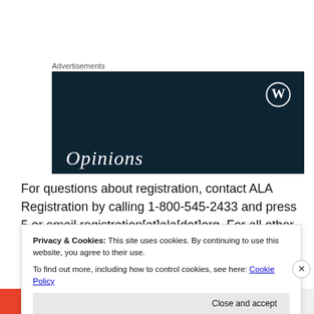Advertisements
[Figure (illustration): Dark navy advertisement banner with WordPress logo (W in circle) in top right, and the word 'Opinions' in white italic serif font at the bottom left.]
For questions about registration, contact ALA Registration by calling 1-800-545-2433 and press 5 or email registration[at]ala[dot]org. For all other questions or comments related to the web courses, contact Julie
Privacy & Cookies: This site uses cookies. By continuing to use this website, you agree to their use.
To find out more, including how to control cookies, see here: Cookie Policy
Close and accept
[Figure (illustration): Bottom banner showing 'All in One Free App' in red and 'DuckDuckGo' on the right side.]